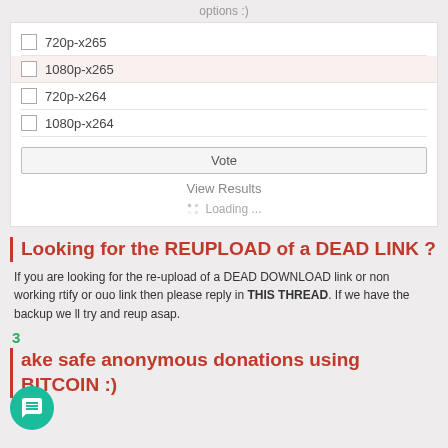options :)
720p-x265
1080p-x265
720p-x264
1080p-x264
Vote
View Results
Loading ...
Looking for the REUPLOAD of a DEAD LINK ?
If you are looking for the re-upload of a DEAD DOWNLOAD link or non working rtify or ouo link then please reply in THIS THREAD. If we have the backup we ll try and reup asap.
3
Make safe anonymous donations using BITCOIN :)